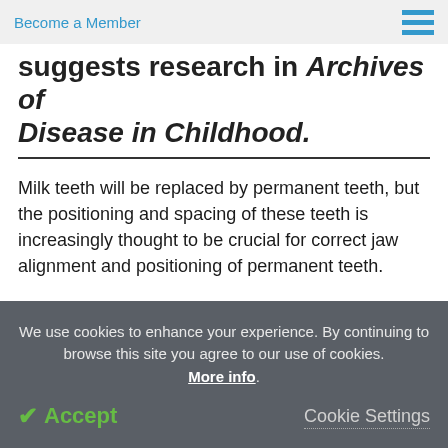Become a Member
suggests research in Archives of Disease in Childhood.
Milk teeth will be replaced by permanent teeth, but the positioning and spacing of these teeth is increasingly thought to be crucial for correct jaw alignment and positioning of permanent teeth.
The findings are based on the detailed feeding histories and sucking patterns of 1099 children aged
We use cookies to enhance your experience. By continuing to browse this site you agree to our use of cookies. More info.
✓ Accept
Cookie Settings